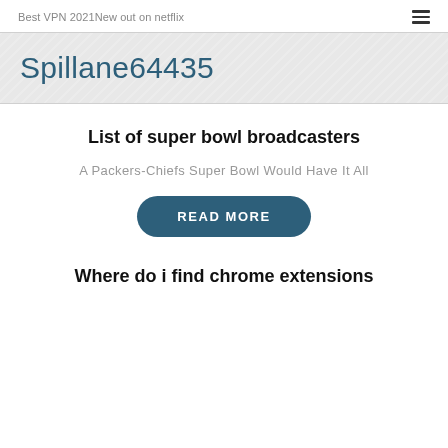Best VPN 2021New out on netflix
Spillane64435
List of super bowl broadcasters
A Packers-Chiefs Super Bowl Would Have It All
READ MORE
Where do i find chrome extensions